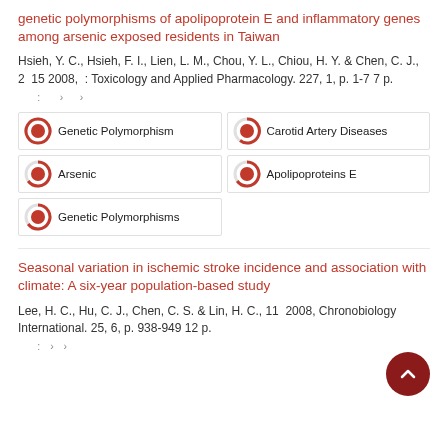genetic polymorphisms of apolipoprotein E and inflammatory genes among arsenic exposed residents in Taiwan
Hsieh, Y. C., Hsieh, F. I., Lien, L. M., Chou, Y. L., Chiou, H. Y. & Chen, C. J., 2 15 2008, : Toxicology and Applied Pharmacology. 227, 1, p. 1-7 7 p.
: › ›
[Figure (infographic): Fingerprint keyword bubbles: Genetic Polymorphism (100%), Carotid Artery Diseases (~75%), Arsenic (~70%), Apolipoproteins E (~65%), Genetic Polymorphisms (~65%)]
Seasonal variation in ischemic stroke incidence and association with climate: A six-year population-based study
Lee, H. C., Hu, C. J., Chen, C. S. & Lin, H. C., 11 2008, Chronobiology International. 25, 6, p. 938-949 12 p.
: › ›